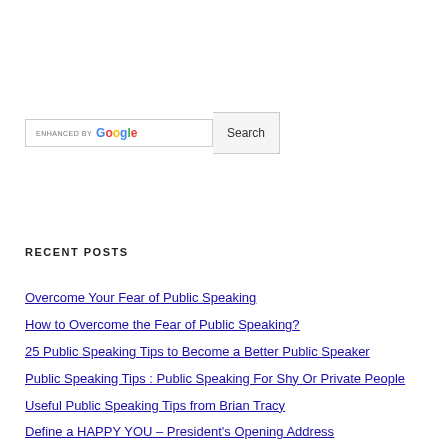[Figure (other): Search bar with 'enhanced by Google' label and a Search button]
RECENT POSTS
Overcome Your Fear of Public Speaking
How to Overcome the Fear of Public Speaking?
25 Public Speaking Tips to Become a Better Public Speaker
Public Speaking Tips : Public Speaking For Shy Or Private People
Useful Public Speaking Tips from Brian Tracy
Define a HAPPY YOU – President's Opening Address
Common Biggest Public Speaking Mistakes